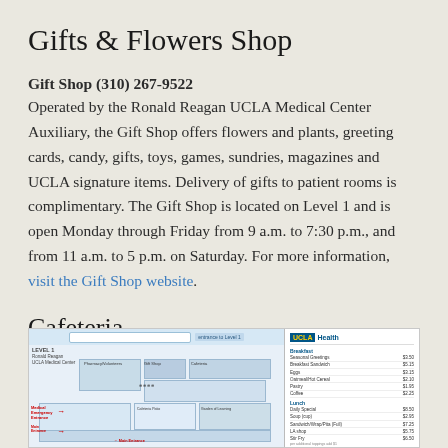Gifts & Flowers Shop
Gift Shop (310) 267-9522
Operated by the Ronald Reagan UCLA Medical Center Auxiliary, the Gift Shop offers flowers and plants, greeting cards, candy, gifts, toys, games, sundries, magazines and UCLA signature items. Delivery of gifts to patient rooms is complimentary. The Gift Shop is located on Level 1 and is open Monday through Friday from 9 a.m. to 7:30 p.m., and from 11 a.m. to 5 p.m. on Saturday. For more information, visit the Gift Shop website.
Cafeteria
[Figure (map): UCLA Health cafeteria map showing Level 1 floor plan with room layout, entrance/exit markers, and a menu/price list on the right side with UCLA Health logo.]